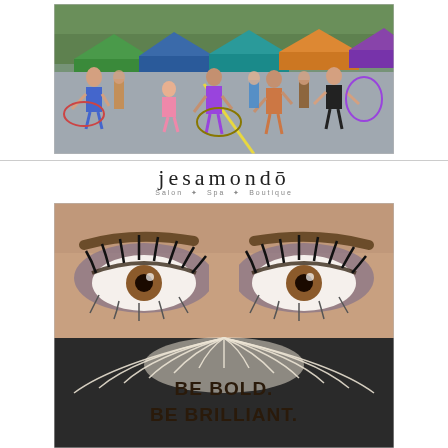[Figure (photo): Outdoor street fair scene with people of various ages playing with hula hoops on a paved road, colorful vendor tents visible in background, sunny day.]
[Figure (advertisement): Jesamondo Salon Spa Boutique advertisement featuring a close-up illustration of a woman's eyes with dramatic eye makeup and lashes, a large makeup brush in the foreground, with the text BE BOLD. BE BRILLIANT.]